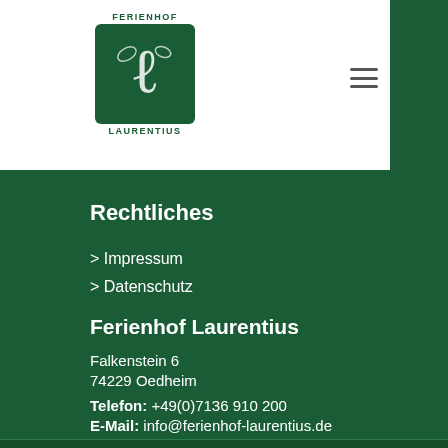[Figure (logo): Ferienhof Laurentius logo — green square with white decorative L and leaf motifs, text FERIENHOF above and LAURENTIUS below]
Rechtliches
> Impressum
> Datenschutz
Ferienhof Laurentius
Falkenstein 6
74229 Oedheim
Telefon: +49(0)7136 910 200
E-Mail: info@ferienhof-laurentius.de